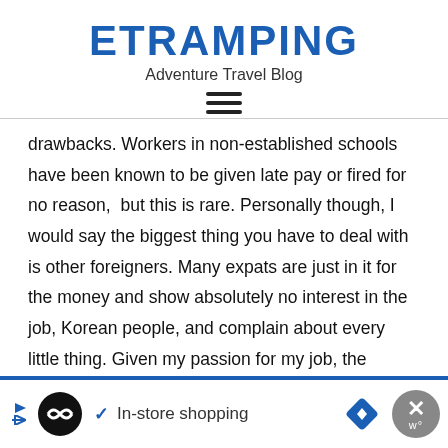ETRAMPING
Adventure Travel Blog
[Figure (other): Hamburger menu icon (three horizontal lines)]
drawbacks. Workers in non-established schools have been known to be given late pay or fired for no reason, but this is rare. Personally though, I would say the biggest thing you have to deal with is other foreigners. Many expats are just in it for the money and show absolutely no interest in the job, Korean people, and complain about every little thing. Given my passion for my job, the country, and a personal pet peeve against complainers, this is quite a
[Figure (other): Advertisement banner: In-store shopping ad with logo icons and close button]